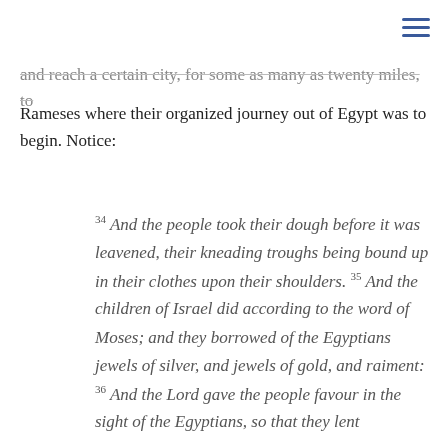≡
and reach a certain city, for some as many as twenty miles, to Rameses where their organized journey out of Egypt was to begin. Notice:
34 And the people took their dough before it was leavened, their kneading troughs being bound up in their clothes upon their shoulders. 35 And the children of Israel did according to the word of Moses; and they borrowed of the Egyptians jewels of silver, and jewels of gold, and raiment: 36 And the Lord gave the people favour in the sight of the Egyptians, so that they lent